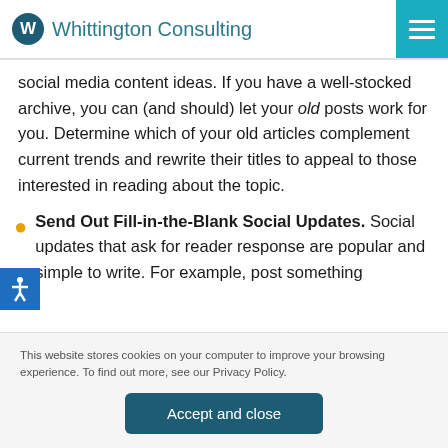Whittington Consulting
social media content ideas. If you have a well-stocked archive, you can (and should) let your old posts work for you. Determine which of your old articles complement current trends and rewrite their titles to appeal to those interested in reading about the topic.
Send Out Fill-in-the-Blank Social Updates. Social updates that ask for reader response are popular and simple to write. For example, post something
This website stores cookies on your computer to improve your browsing experience. To find out more, see our Privacy Policy.
Accept and close